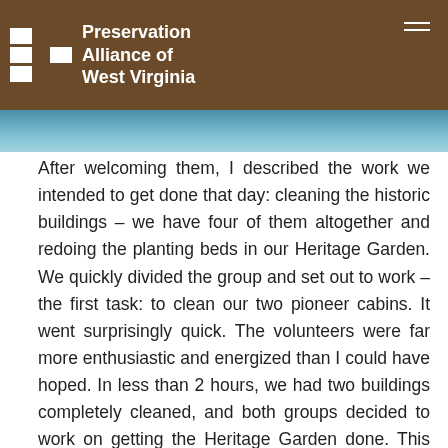Preservation Alliance of West Virginia
After welcoming them, I described the work we intended to get done that day: cleaning the historic buildings – we have four of them altogether and redoing the planting beds in our Heritage Garden. We quickly divided the group and set out to work – the first task: to clean our two pioneer cabins. It went surprisingly quick. The volunteers were far more enthusiastic and energized than I could have hoped. In less than 2 hours, we had two buildings completely cleaned, and both groups decided to work on getting the Heritage Garden done. This was completed in about another hour and a half. As we continued to work on this task, both of the 4-H mothers asked if they could move on to another building. While the rest of us